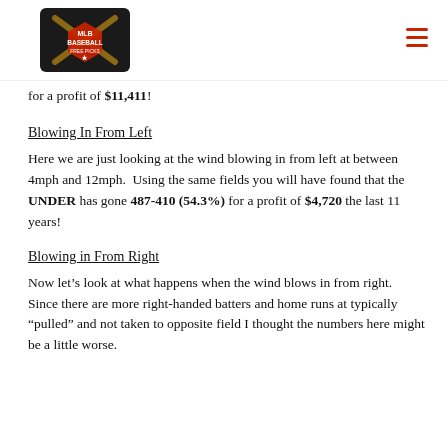MLB Baseball Free Picks
for a profit of $11,411!
Blowing In From Left
Here we are just looking at the wind blowing in from left at between 4mph and 12mph. Using the same fields you will have found that the UNDER has gone 487-410 (54.3%) for a profit of $4,720 the last 11 years!
Blowing in From Right
Now let's look at what happens when the wind blows in from right. Since there are more right-handed batters and home runs at typically “pulled” and not taken to opposite field I thought the numbers here might be a little worse.